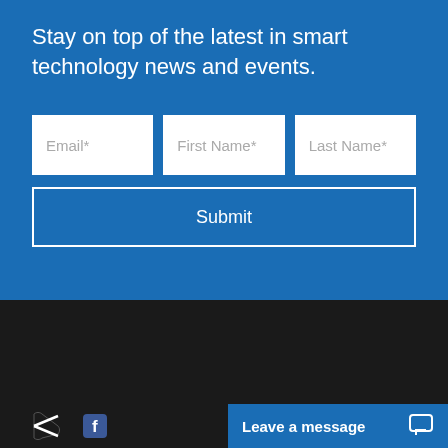Stay on top of the latest in smart technology news and events.
Email*
First Name*
Last Name*
Submit
[Figure (logo): Level 3 Audiovisual logo with three colored triangular shapes (blue, red, green) and text LEVEL3 AUDIOVISUAL]
Leave a message